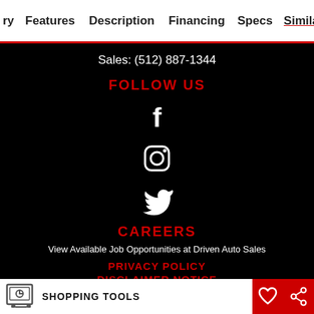ry  Features  Description  Financing  Specs  Similar
Sales: (512) 887-1344
FOLLOW US
[Figure (other): Facebook icon (white F on black background)]
[Figure (other): Instagram icon (white camera outline on black background)]
[Figure (other): Twitter bird icon (white on black background)]
CAREERS
View Available Job Opportunities at Driven Auto Sales
PRIVACY POLICY
DISCLAIMER NOTICE
SHOPPING TOOLS